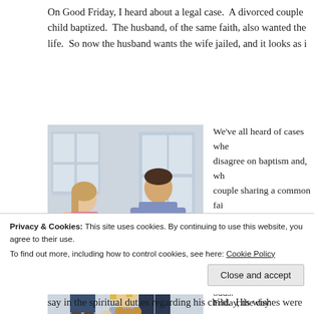On Good Friday, I heard about a legal case. A divorced couple child baptized. The husband, of the same faith, also wanted the life. So now the husband wants the wife jailed, and it looks as i
[Figure (photo): Photo of a divorced couple standing back to back with a young child holding a teddy bear in the foreground, illustrating family conflict]
We've all heard of cases whe disagree on baptism and, wh couple sharing a common fai divided, in my opinion, and b and wonder how two become spiritual beliefs are at odds.
The topic of this post is that Friday, the day representative The i i l h
Privacy & Cookies: This site uses cookies. By continuing to use this website, you agree to their use.
To find out more, including how to control cookies, see here: Cookie Policy
Close and accept
say in the spiritual duties regarding his child. His wishes were